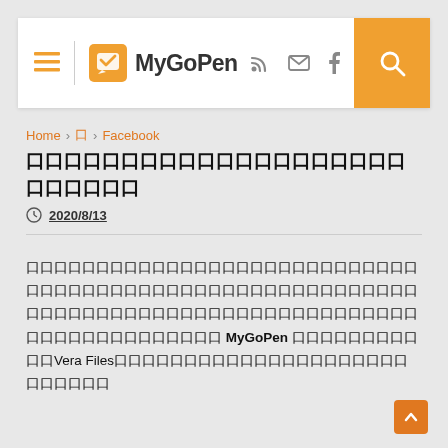MyGoPen
Home › 口 › Facebook
口口口口口口口口口口口口口口口口口口口口口口口口口口
2020/8/13
口口口口口口口口口口口口口口口口口口口口口口口口口口口口口口口口口口口口口口口口口口口口口口口口口口口口口口口口口口口口口口口口口口口口口口口口口口口口口口口口口口口口口口口口口口口口口口口口口口 MyGoPen 口口口口口口口口口口口Vera Files口口口口口口口口口口口口口口口口口口口口口口口口口口口